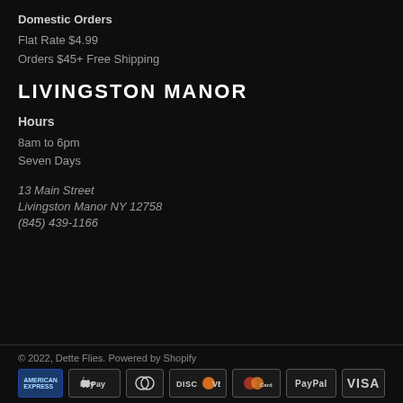Domestic Orders
Flat Rate $4.99
Orders $45+ Free Shipping
LIVINGSTON MANOR
Hours
8am to 6pm
Seven Days
13 Main Street
Livingston Manor NY 12758
(845) 439-1166
© 2022, Dette Flies. Powered by Shopify
[Figure (logo): Payment method icons: American Express, Apple Pay, Diners Club, Discover, MasterCard, PayPal, Visa]